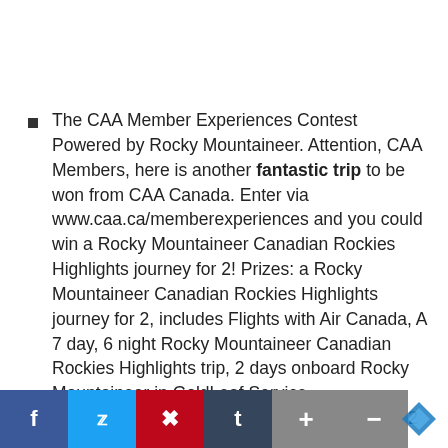The CAA Member Experiences Contest Powered by Rocky Mountaineer. Attention, CAA Members, here is another fantastic trip to be won from CAA Canada. Enter via www.caa.ca/memberexperiences and you could win a Rocky Mountaineer Canadian Rockies Highlights journey for 2! Prizes: a Rocky Mountaineer Canadian Rockies Highlights journey for 2, includes Flights with Air Canada, A 7 day, 6 night Rocky Mountaineer Canadian Rockies Highlights trip, 2 days onboard Rocky Mountaineer in GoldLeaf Service
6 nights hotel accommodations, 2 breakfasts, 2 lunches' onboard the Rocky Mountaineer
...in Vancouver, Yoho National Park Tour, Summit Helicopter Flightseeing, Admission